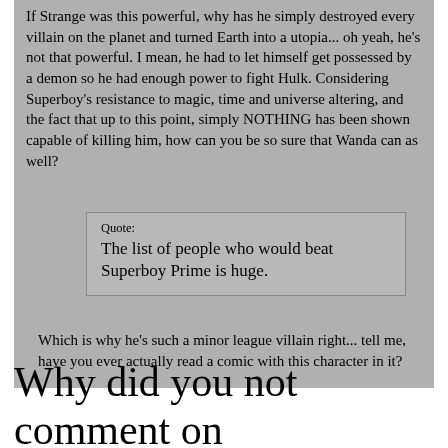If Strange was this powerful, why has he simply destroyed every villain on the planet and turned Earth into a utopia... oh yeah, he's not that powerful. I mean, he had to let himself get possessed by a demon so he had enough power to fight Hulk. Considering Superboy's resistance to magic, time and universe altering, and the fact that up to this point, simply NOTHING has been shown capable of killing him, how can you be so sure that Wanda can as well?
Quote: The list of people who would beat Superboy Prime is huge.
Which is why he's such a minor league villain right... tell me, have you ever actually read a comic with this character in it?
Why did you not comment on